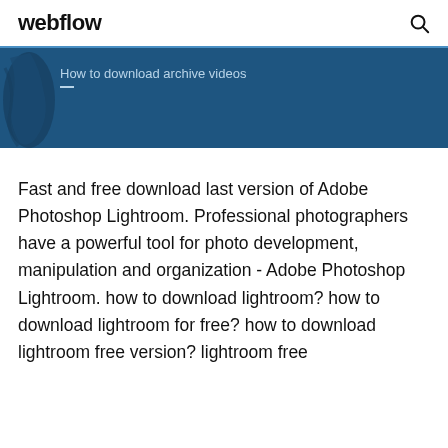webflow
[Figure (screenshot): Dark blue banner with a partially visible decorative figure on the left and the text 'How to download archive videos' with an underline below]
Fast and free download last version of Adobe Photoshop Lightroom. Professional photographers have a powerful tool for photo development, manipulation and organization - Adobe Photoshop Lightroom. how to download lightroom? how to download lightroom for free? how to download lightroom free version? lightroom free